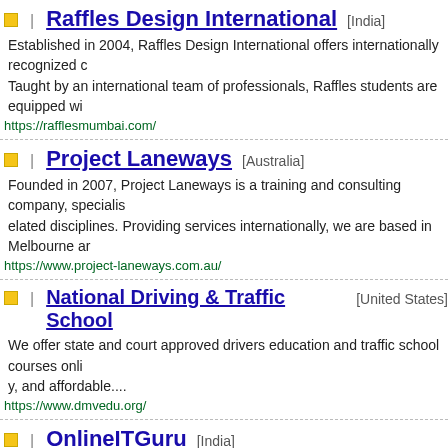Raffles Design International [India]
Established in 2004, Raffles Design International offers internationally recognized c... Taught by an international team of professionals, Raffles students are equipped wi...
https://rafflesmumbai.com/
Project Laneways [Australia]
Founded in 2007, Project Laneways is a training and consulting company, specialis... elated disciplines. Providing services internationally, we are based in Melbourne ar...
https://www.project-laneways.com.au/
National Driving & Traffic School [United States]
We offer state and court approved drivers education and traffic school courses onli... y, and affordable....
https://www.dmvedu.org/
OnlineITGuru [India]
According to Recent statistics , ever year 50L people(  12 L were non – IT)  were getting graduated . But all these people were not getting graduated why